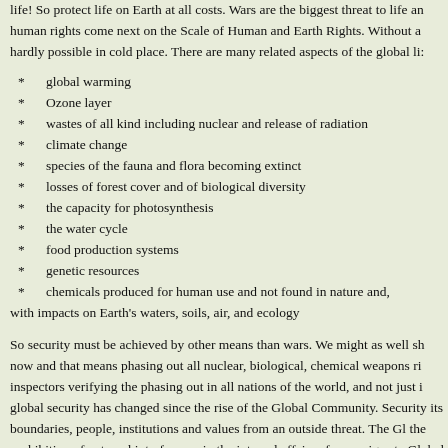life! So protect life on Earth at all costs. Wars are the biggest threat to life an human rights come next on the Scale of Human and Earth Rights. Without a hardly possible in cold place. There are many related aspects of the global li:
global warming
Ozone layer
wastes of all kind including nuclear and release of radiation
climate change
species of the fauna and flora becoming extinct
losses of forest cover and of biological diversity
the capacity for photosynthesis
the water cycle
food production systems
genetic resources
chemicals produced for human use and not found in nature and, with impacts on Earth's waters, soils, air, and ecology
So security must be achieved by other means than wars. We might as well sh now and that means phasing out all nuclear, biological, chemical weapons ri inspectors verifying the phasing out in all nations of the world, and not just i global security has changed since the rise of the Global Community. Security its boundaries, people, institutions and values from an outside threat. The Gl the prohibition of external interference in the internal affairs of sovereign sta Global Community is just as important as the security of states. Citizens mu: important as the security and life of citizens and states.
There are many threats to security other than the threats to the global life-sup mass destruction and the threats to the sovereignty of a state, and they inclu